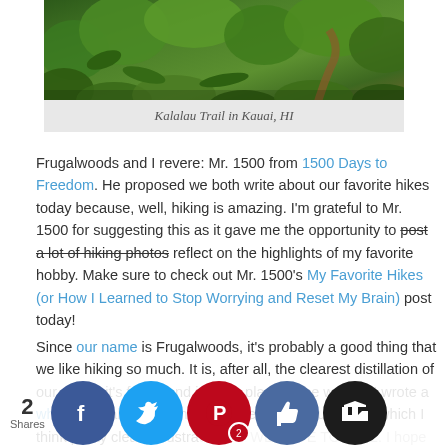[Figure (photo): Lush green tropical trail photo — Kalalau Trail in Kauai, HI]
Kalalau Trail in Kauai, HI
Frugalwoods and I revere: Mr. 1500 from 1500 Days to Freedom. He proposed we both write about our favorite hikes today because, well, hiking is amazing. I'm grateful to Mr. 1500 for suggesting this as it gave me the opportunity to post a lot of hiking photos reflect on the highlights of my favorite hobby. Make sure to check out Mr. 1500's My Favorite Hikes (or How I Learned to Stop Worrying and Reset My Brain) post today!
Since our name is Frugalwoods, it's probably a good thing that we like hiking so much. It is, after all, the clearest distillation of our name: it's frugal and it takes place in the woods. I wrote a whole post about why hiking is the perfect frugal day, which I think pretty clearly illustrates that WE LOVE TO HIKE. I hope that Mr. 1500 and I inspire you to hike to the best of your ability — you are the hike, it...